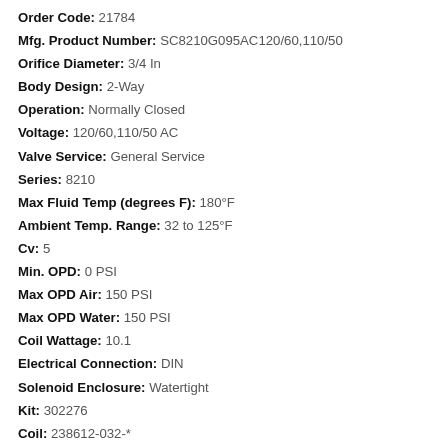Order Code: 21784
Mfg. Product Number: SC8210G095AC120/60,110/50
Orifice Diameter: 3/4 In
Body Design: 2-Way
Operation: Normally Closed
Voltage: 120/60,110/50 AC
Valve Service: General Service
Series: 8210
Max Fluid Temp (degrees F): 180°F
Ambient Temp. Range: 32 to 125°F
Cv: 5
Min. OPD: 0 PSI
Max OPD Air: 150 PSI
Max OPD Water: 150 PSI
Coil Wattage: 10.1
Electrical Connection: DIN
Solenoid Enclosure: Watertight
Kit: 302276
Coil: 238612-032-*